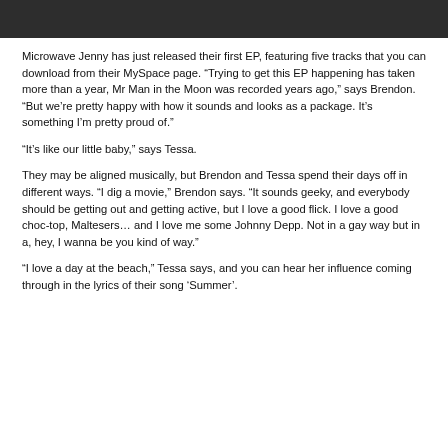Microwave Jenny has just released their first EP, featuring five tracks that you can download from their MySpace page. “Trying to get this EP happening has taken more than a year, Mr Man in the Moon was recorded years ago,” says Brendon. “But we’re pretty happy with how it sounds and looks as a package. It’s something I’m pretty proud of.”
“It’s like our little baby,” says Tessa.
They may be aligned musically, but Brendon and Tessa spend their days off in different ways. “I dig a movie,” Brendon says. “It sounds geeky, and everybody should be getting out and getting active, but I love a good flick. I love a good choc-top, Maltesers… and I love me some Johnny Depp. Not in a gay way but in a, hey, I wanna be you kind of way.”
“I love a day at the beach,” Tessa says, and you can hear her influence coming through in the lyrics of their song ‘Summer’.